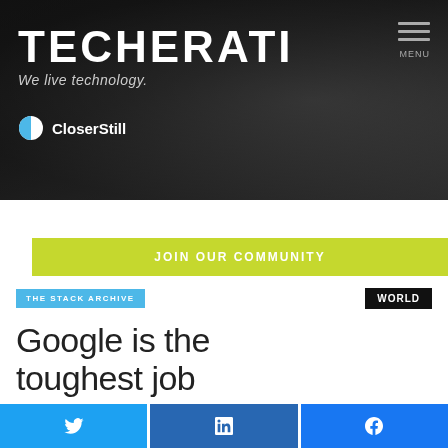[Figure (screenshot): Techerati website header with dark background showing crowd silhouettes, TECHERATI logo in white bold uppercase text, tagline 'We live technology.' in italic, CloserStill logo, and hamburger menu icon with MENU label]
JOIN OUR COMMUNITY
THE STACK ARCHIVE
WORLD
Google is the toughest job
Twitter share button
LinkedIn share button
Facebook share button